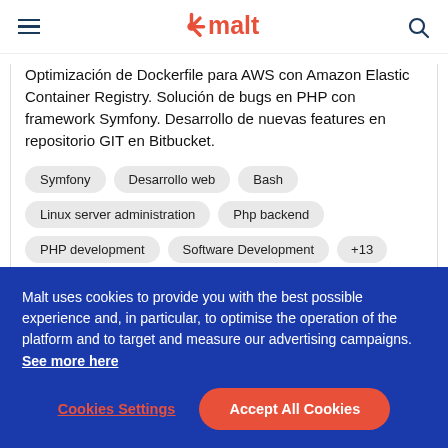malt
Optimización de Dockerfile para AWS con Amazon Elastic Container Registry. Solución de bugs en PHP con framework Symfony. Desarrollo de nuevas features en repositorio GIT en Bitbucket.
Symfony
Desarrollo web
Bash
Linux server administration
Php backend
PHP development
Software Development
+13
Malt uses cookies to provide you with the best possible experience and, in particular, to optimise the operation of the platform and to target and measure our advertising campaigns. See more here
Cookies Settings
Accept All Cookies